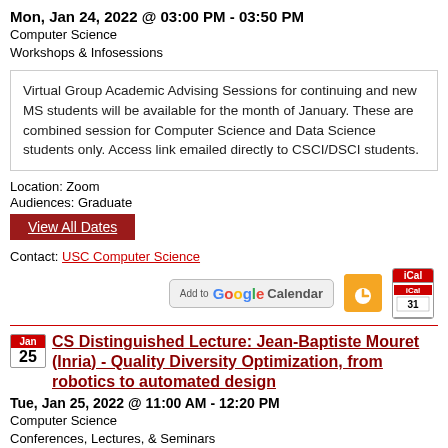Mon, Jan 24, 2022 @ 03:00 PM - 03:50 PM
Computer Science
Workshops & Infosessions
Virtual Group Academic Advising Sessions for continuing and new MS students will be available for the month of January. These are combined session for Computer Science and Data Science students only. Access link emailed directly to CSCI/DSCI students.
Location: Zoom
Audiences: Graduate
View All Dates
Contact: USC Computer Science
[Figure (logo): Add to Google Calendar button and iCal icon]
CS Distinguished Lecture: Jean-Baptiste Mouret (Inria) - Quality Diversity Optimization, from robotics to automated design
Tue, Jan 25, 2022 @ 11:00 AM - 12:20 PM
Computer Science
Conferences, Lectures, & Seminars